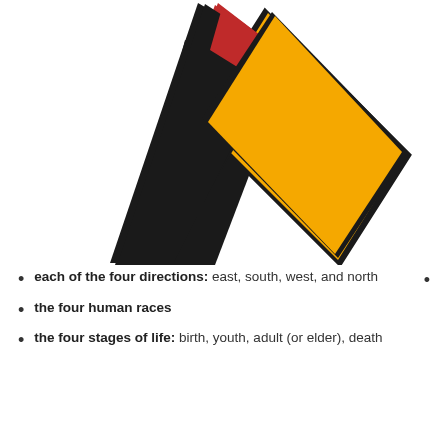[Figure (illustration): An awareness ribbon made of two crossed panels — a wide black panel on the left and a yellow/gold panel on the right with a black border, with a red triangular section at the top center where they overlap. The ribbon symbol is associated with Indigenous/Aboriginal awareness.]
each of the four directions: east, south, west, and north
the four human races
the four stages of life: birth, youth, adult (or elder), death